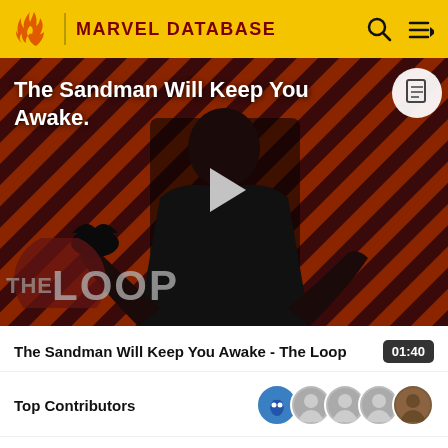MARVEL DATABASE
[Figure (screenshot): Video thumbnail showing a dark-cloaked figure against a red and black diagonal striped background with 'THE LOOP' logo overlay and a play button. Title text reads 'The Sandman Will Keep You Awake.' overlaid at the top.]
The Sandman Will Keep You Awake - The Loop  01:40
Top Contributors
Categories